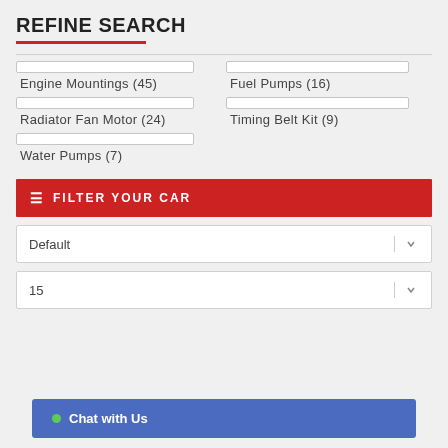REFINE SEARCH
Engine Mountings (45)
Fuel Pumps (16)
Radiator Fan Motor (24)
Timing Belt Kit (9)
Water Pumps (7)
FILTER YOUR CAR
Default
15
Chat with Us